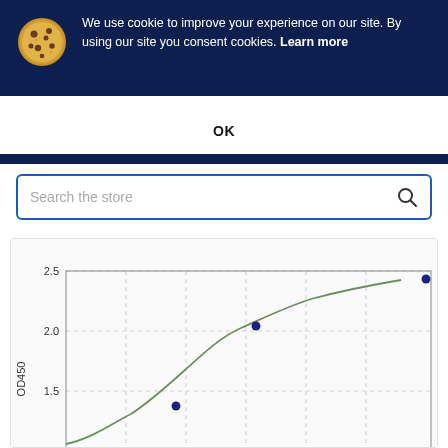We use cookie to improve your experience on our site. By using our site you consent cookies. Learn more
OK
Search the store
[Figure (continuous-plot): Partial view of a dose-response or binding curve chart. Y-axis labeled OD450 with visible tick marks at 1.5, 2.0, and 2.5. A sigmoid/logarithmic curve is shown in green/olive color with blue data points plotted. The curve rises steeply then flattens toward ~2.4 at the top right. Two data points visible: approximately (x~mid, y~1.3) and (x~higher, y~2.05).]